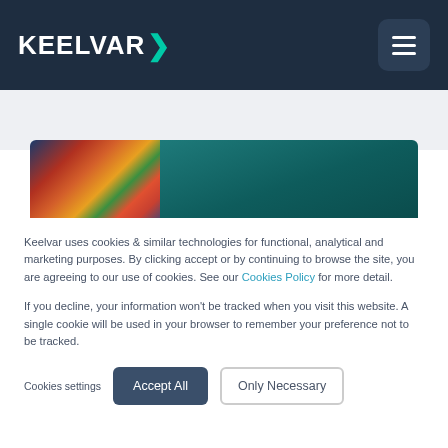KEELVAR >
[Figure (photo): Aerial view of colorful shipping containers on left and teal ocean water on right]
Keelvar uses cookies & similar technologies for functional, analytical and marketing purposes. By clicking accept or by continuing to browse the site, you are agreeing to our use of cookies. See our Cookies Policy for more detail.
If you decline, your information won't be tracked when you visit this website. A single cookie will be used in your browser to remember your preference not to be tracked.
Cookies settings   Accept All   Only Necessary